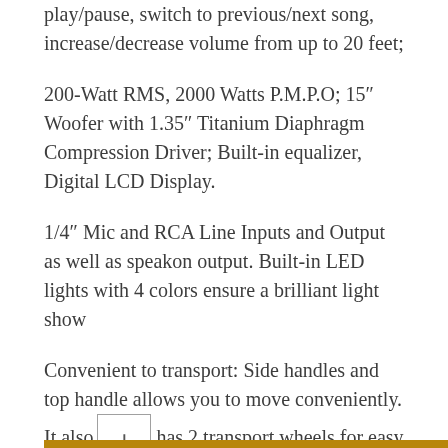play/pause, switch to previous/next song, increase/decrease volume from up to 20 feet;
200-Watt RMS, 2000 Watts P.M.P.O; 15″ Woofer with 1.35″ Titanium Diaphragm Compression Driver; Built-in equalizer, Digital LCD Display.
1/4″ Mic and RCA Line Inputs and Output as well as speakon output. Built-in LED lights with 4 colors ensure a brilliant light show
Convenient to transport: Side handles and top handle allows you to move conveniently. It also has 2 transport wheels for easy mobility.